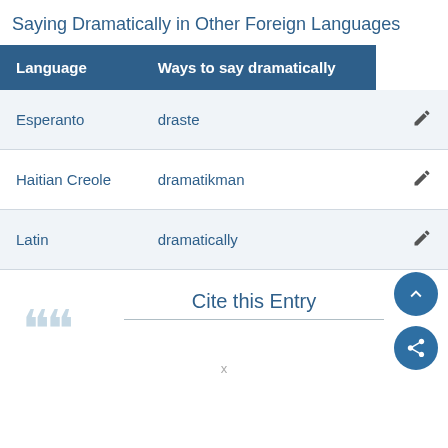Saying Dramatically in Other Foreign Languages
| Language | Ways to say dramatically |
| --- | --- |
| Esperanto | draste |
| Haitian Creole | dramatikman |
| Latin | dramatically |
Cite this Entry